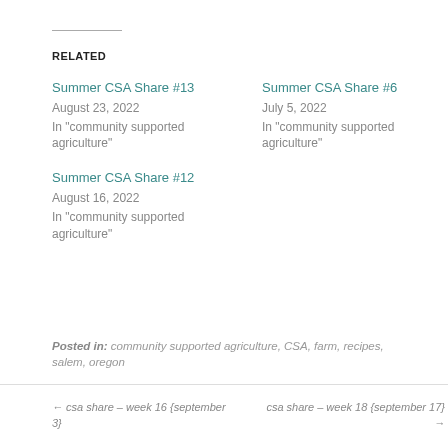RELATED
Summer CSA Share #13
August 23, 2022
In "community supported agriculture"
Summer CSA Share #6
July 5, 2022
In "community supported agriculture"
Summer CSA Share #12
August 16, 2022
In "community supported agriculture"
Posted in: community supported agriculture, CSA, farm, recipes, salem, oregon
← csa share – week 16 {september 3}     csa share – week 18 {september 17} →